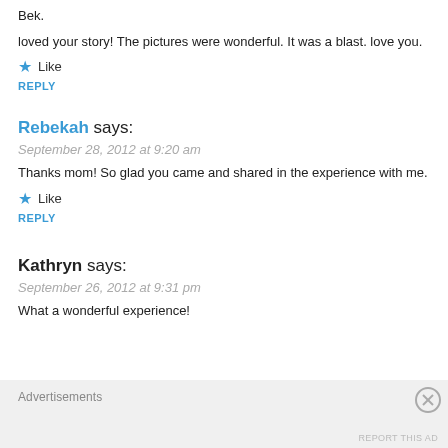Bek.
loved your story! The pictures were wonderful. It was a blast. love you.
★ Like
REPLY
Rebekah says:
September 28, 2012 at 9:20 am
Thanks mom! So glad you came and shared in the experience with me.
★ Like
REPLY
Kathryn says:
September 26, 2012 at 9:31 pm
What a wonderful experience!
Advertisements
REPORT THIS AD